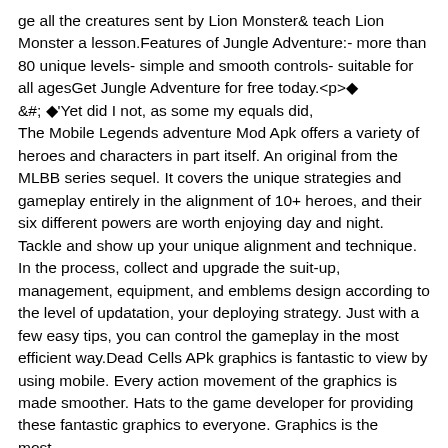ge all the creatures sent by Lion Monster& teach Lion Monster a lesson.Features of Jungle Adventure:- more than 80 unique levels- simple and smooth controls- suitable for all agesGet Jungle Adventure for free today.<p>&#;Yet did I not, as some my equals did,
The Mobile Legends adventure Mod Apk offers a variety of heroes and characters in part itself. An original from the MLBB series sequel. It covers the unique strategies and gameplay entirely in the alignment of 10+ heroes, and their six different powers are worth enjoying day and night. Tackle and show up your unique alignment and technique. In the process, collect and upgrade the suit-up, management, equipment, and emblems design according to the level of updatation, your deploying strategy. Just with a few easy tips, you can control the gameplay in the most efficient way.Dead Cells APk graphics is fantastic to view by using mobile. Every action movement of the graphics is made smoother. Hats to the game developer for providing these fantastic graphics to everyone. Graphics is the most...